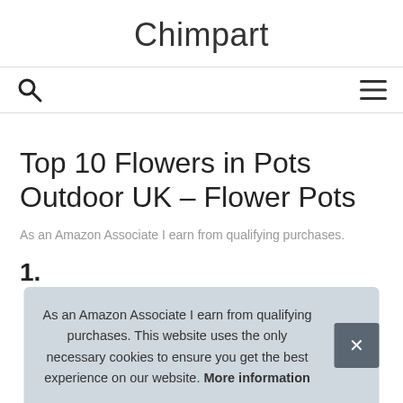Chimpart
[Figure (other): Search icon (magnifying glass) and hamburger menu icon navigation bar]
Top 10 Flowers in Pots Outdoor UK – Flower Pots
As an Amazon Associate I earn from qualifying purchases.
1.
As an Amazon Associate I earn from qualifying purchases. This website uses the only necessary cookies to ensure you get the best experience on our website. More information